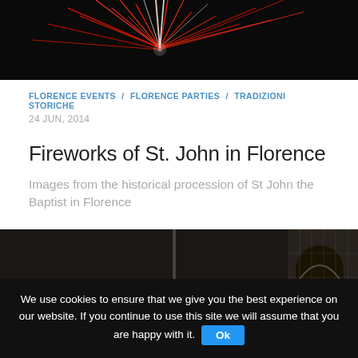[Figure (photo): Fireworks photo showing red and white streaks against a dark sky, cropped at top]
FLORENCE EVENTS / FLORENCE PARTIES / TRADIZIONI STORICHE
24 JUN, 2014
Fireworks of St. John in Florence
Images from the historical procession of St John the Baptist in Florence
[Figure (photo): Indoor photo showing a large round pendant lamp and architectural facade with arched window visible in background]
We use cookies to ensure that we give you the best experience on our website. If you continue to use this site we will assume that you are happy with it. Ok